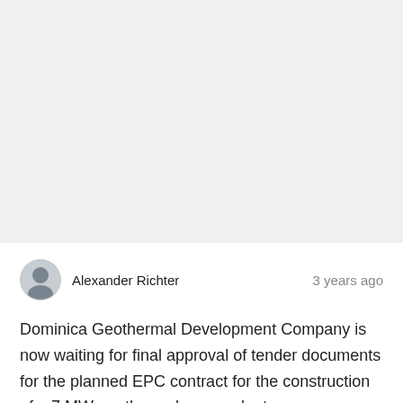[Figure (photo): Large image placeholder area (light gray background, image content not visible)]
Alexander Richter   3 years ago
Dominica Geothermal Development Company is now waiting for final approval of tender documents for the planned EPC contract for the construction of a 7 MW geothermal power plant